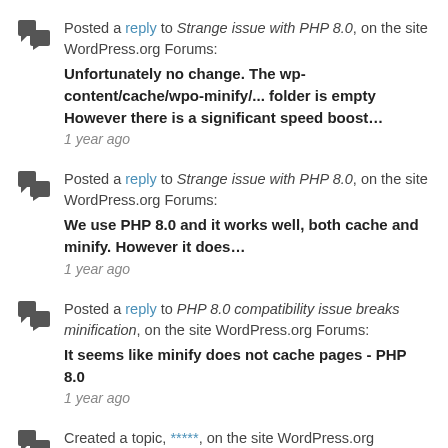Posted a reply to Strange issue with PHP 8.0, on the site WordPress.org Forums: Unfortunately no change. The wp-content/cache/wpo-minify/... folder is empty However there is a significant speed boost… 1 year ago
Posted a reply to Strange issue with PHP 8.0, on the site WordPress.org Forums: We use PHP 8.0 and it works well, both cache and minify. However it does… 1 year ago
Posted a reply to PHP 8.0 compatibility issue breaks minification, on the site WordPress.org Forums: It seems like minify does not cache pages - PHP 8.0 1 year ago
Created a topic, *****, on the site WordPress.org Forums: Amazing plugin, very stable and lots of options!!! 1 year ago
Created a topic, Outstanding, on the site WordPress.org